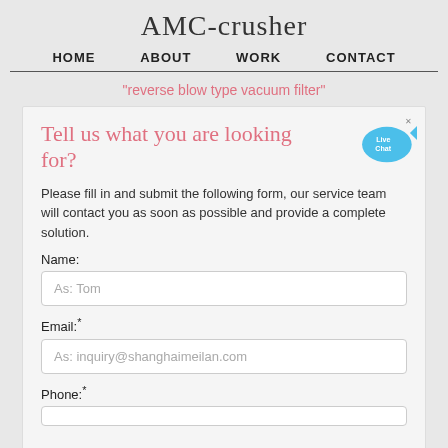AMC-crusher
HOME   ABOUT   WORK   CONTACT
"reverse blow type vacuum filter"
Tell us what you are looking for?
Please fill in and submit the following form, our service team will contact you as soon as possible and provide a complete solution.
Name:
As: Tom
Email:*
As: inquiry@shanghaimeilan.com
Phone:*